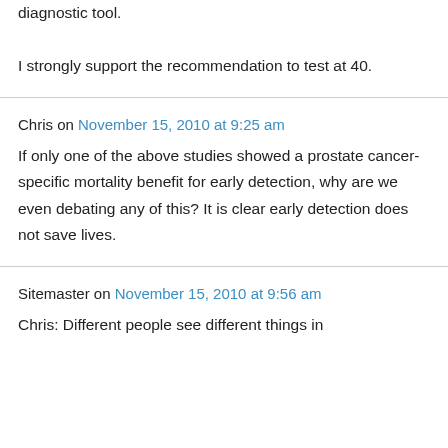diagnostic tool.

I strongly support the recommendation to test at 40.
Chris on November 15, 2010 at 9:25 am
If only one of the above studies showed a prostate cancer-specific mortality benefit for early detection, why are we even debating any of this? It is clear early detection does not save lives.
Sitemaster on November 15, 2010 at 9:56 am
Chris: Different people see different things in